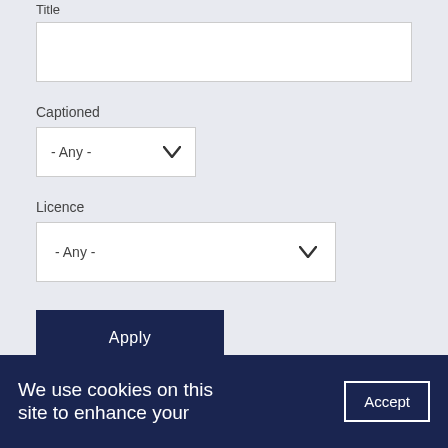Title
Captioned
- Any -
Licence
- Any -
Apply
We use cookies on this site to enhance your
Accept